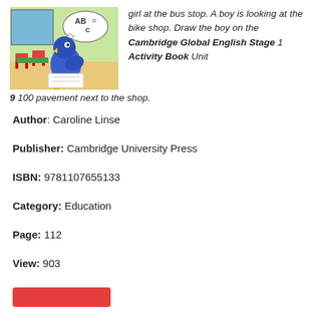[Figure (illustration): Illustrated cartoon blue parrot/bird character sitting at a desk in a classroom, with an ABC speech bubble, red chairs and green table visible in background.]
girl at the bus stop. A boy is looking at the bike shop. Draw the boy on the Cambridge Global English Stage 1 Activity Book Unit 9 100 pavement next to the shop.
Author: Caroline Linse
Publisher: Cambridge University Press
ISBN: 9781107655133
Category: Education
Page: 112
View: 903